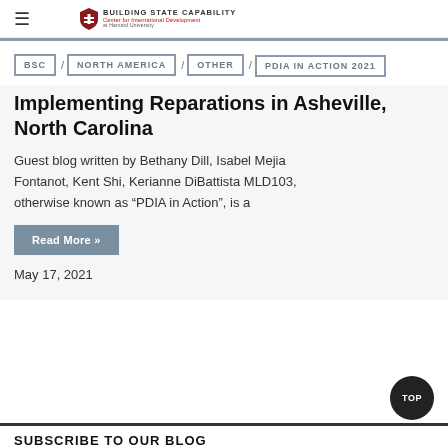BUILDING STATE CAPABILITY — Center for International Development at Harvard University
BSC / NORTH AMERICA / OTHER / PDIA IN ACTION 2021
Implementing Reparations in Asheville, North Carolina
Guest blog written by Bethany Dill, Isabel Mejia Fontanot, Kent Shi, Kerianne DiBattista MLD103, otherwise known as “PDIA in Action”, is a
Read More »
May 17, 2021
SUBSCRIBE TO OUR BLOG